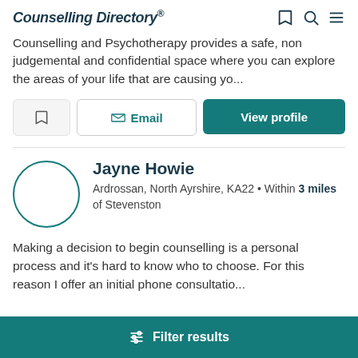Counselling Directory
Counselling and Psychotherapy provides a safe, non judgemental and confidential space where you can explore the areas of your life that are causing yo...
Email | View profile
Jayne Howie
Ardrossan, North Ayrshire, KA22 • Within 3 miles of Stevenston
Making a decision to begin counselling is a personal process and it's hard to know who to choose. For this reason I offer an initial phone consultatio...
Filter results